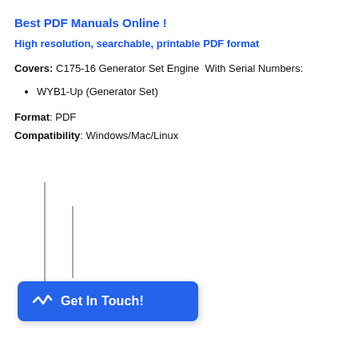Best PDF Manuals Online !
High resolution, searchable, printable PDF format
Covers: C175-16 Generator Set Engine With Serial Numbers:
WYB1-Up (Generator Set)
Format: PDF
Compatibility: Windows/Mac/Linux
[Figure (other): Two vertical lines forming a divider graphic, partially visible at bottom of page]
[Figure (other): Blue rounded button with chat/pulse icon and text 'Get In Touch!']